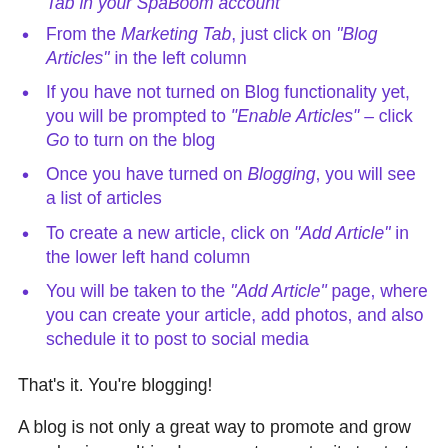Tab in your SpaBoom account
From the Marketing Tab, just click on "Blog Articles" in the left column
If you have not turned on Blog functionality yet, you will be prompted to "Enable Articles" – click Go to turn on the blog
Once you have turned on Blogging, you will see a list of articles
To create a new article, click on "Add Article" in the lower left hand column
You will be taken to the "Add Article" page, where you can create your article, add photos, and also schedule it to post to social media
That's it. You're blogging!
A blog is not only a great way to promote and grow your business. It is also a great opportunity to start a dialogue